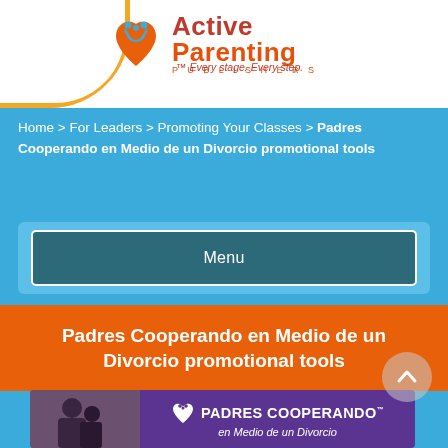[Figure (logo): Active Parenting Publishers logo with tagline 'Every stage. Every step.' on white header bar with orange arc and hamburger menu]
Home > For Leaders > Promoting Your Classes > Padres Cooperando en Medio de un Divorcio promotional tools
Menu
Padres Cooperando en Medio de un Divorcio promotional tools
[Figure (screenshot): Partial product image showing purple background with 'PADRES COOPERANDO en Medio de un Divorcio' text and logo, with photo of adults and child on left]